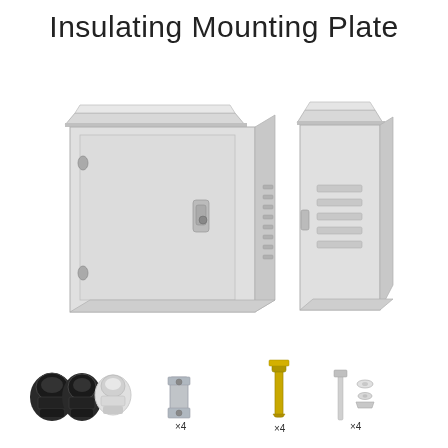Insulating Mounting Plate
[Figure (photo): Two stainless steel outdoor electrical enclosure boxes with ventilation slats, locking handles, and peaked rain canopy tops. The left box is larger and shown from the front, the right is a narrower side-view box. Both have metallic grey finish.]
[Figure (photo): Accessories shown at bottom: three cable glands (two black, one white), four mounting brackets with x4 label, four anchor bolts with x4 label, and stainless screws/washers/nuts with x4 label.]